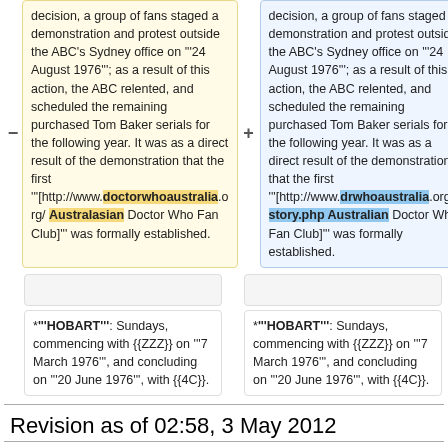decision, a group of fans staged a demonstration and protest outside the ABC's Sydney office on """24 August 1976"""; as a result of this action, the ABC relented, and scheduled the remaining purchased Tom Baker serials for the following year. It was as a direct result of the demonstration that the first """[http://www.doctorwhoaustralia.org/ Australasian Doctor Who Fan Club]""" was formally established. (left/removed version)
decision, a group of fans staged a demonstration and protest outside the ABC's Sydney office on """24 August 1976"""; as a result of this action, the ABC relented, and scheduled the remaining purchased Tom Baker serials for the following year. It was as a direct result of the demonstration that the first """[http://www.drwhoaustralia.org/history.php Australian Doctor Who Fan Club]""" was formally established. (right/added version)
*""'HOBART'"": Sundays, commencing with {{ZZZ}} on ""'7 March 1976'"", and concluding on ""'20 June 1976'"", with {{4C}}. (left version)
*""'HOBART'"": Sundays, commencing with {{ZZZ}} on ""'7 March 1976'"", and concluding on ""'20 June 1976'"", with {{4C}}. (right version)
Revision as of 02:58, 3 May 2012
AUSTRALIAN TRANSMISSION HISTORY (Part Four) (1976-1982)